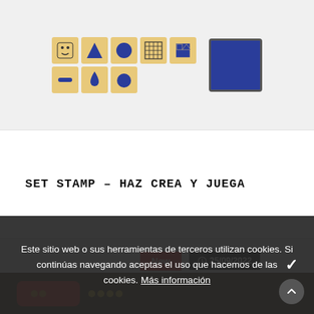[Figure (photo): Wooden stamp set with various shape stamps (face, grid, square, triangle, circle, drop, dash) and a blue ink pad on a light gray background.]
SET STAMP – HAZ CREA Y JUEGA
[Figure (photo): Second product card showing a red box and yellow/dark dots on a dark background, with 'New' badge in red and '25/09/2022' date badge in black.]
Este sitio web o sus herramientas de terceros utilizan cookies. Si continúas navegando aceptas el uso que hacemos de las cookies. Más información